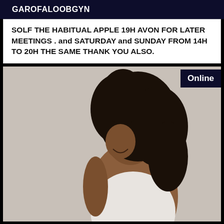GAROFALOOBGYN
SOLF THE HABITUAL APPLE 19H AVON FOR LATER MEETINGS . and SATURDAY and SUNDAY FROM 14H TO 20H THE SAME THANK YOU ALSO.
[Figure (photo): A person photographed from the side, with curly black hair, wearing a white top, against a light grey background. An 'Online' badge appears in the top right corner.]